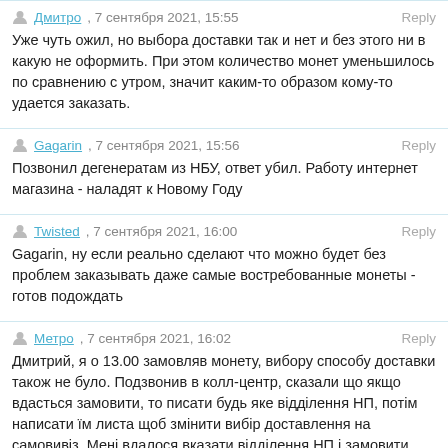Дмитро, 7 сентября 2021, 15:55 Reply
Уже чуть ожил, но выбора доставки так и нет и без этого ни в какую не оформить. При этом количество монет уменьшилось по сравнению с утром, значит каким-то образом кому-то удается заказать.
Gagarin, 7 сентября 2021, 15:56 Reply
Позвонил дегенератам из НБУ, ответ убил. Работу интернет магазина - наладят к Новому Году
Twisted, 7 сентября 2021, 16:00 Reply
Gagarin, ну если реально сделают что можно будет без проблем заказывать даже самые востребованные монеты - готов подождать
Метро, 7 сентября 2021, 16:02 Reply
Дмитрий, я о 13.00 замовляв монету, вибору способу доставки також не було. Подзвонив в колл-центр, сказали що якщо вдасться замовити, то писати будь яке відділення НП, потім написати їм листа щоб змінити вибір доставлення на самовивіз. Мені вдалося вказати відділення НП і замовити монету. Ось зараз сиджу і жду.